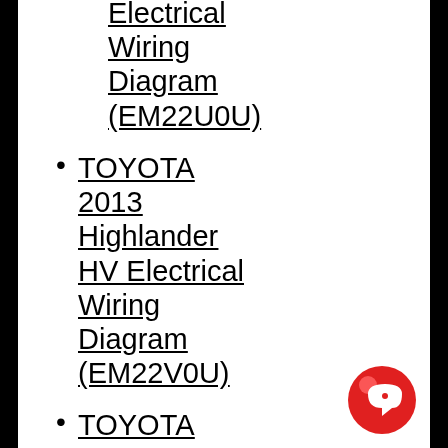Electrical Wiring Diagram (EM22U0U)
TOYOTA 2013 Highlander HV Electrical Wiring Diagram (EM22V0U)
TOYOTA 2013 Land Cruiser Electrical Wiring Diagram (EM18X0U)